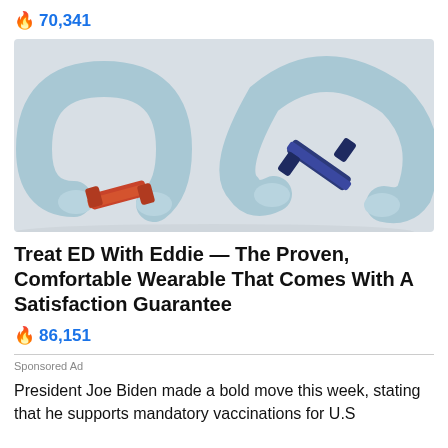🔥 70,341
[Figure (photo): Close-up photo of light blue horseshoe-shaped wearable devices (Eddie ED rings) with orange and navy blue fabric straps on a light gray background.]
Treat ED With Eddie — The Proven, Comfortable Wearable That Comes With A Satisfaction Guarantee
🔥 86,151
Sponsored Ad
President Joe Biden made a bold move this week, stating that he supports mandatory vaccinations for U.S